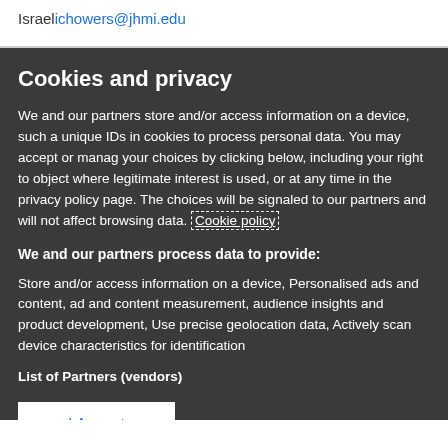Israelichowers@jhmi.edu
Cookies and privacy
We and our partners store and/or access information on a device, such a unique IDs in cookies to process personal data. You may accept or manag your choices by clicking below, including your right to object where legitimate interest is used, or at any time in the privacy policy page. The choices will be signaled to our partners and will not affect browsing data. Cookie policy
We and our partners process data to provide:
Store and/or access information on a device, Personalised ads and content, ad and content measurement, audience insights and product development, Use precise geolocation data, Actively scan device characteristics for identification
List of Partners (vendors)
I Accept